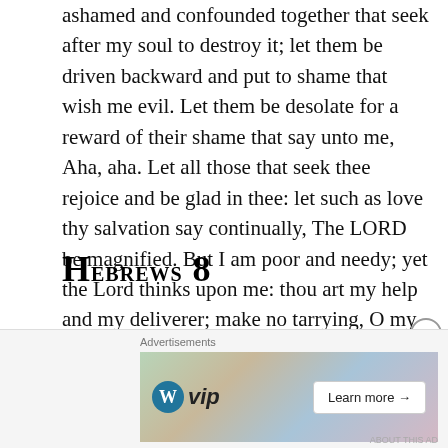ashamed and confounded together that seek after my soul to destroy it; let them be driven backward and put to shame that wish me evil. Let them be desolate for a reward of their shame that say unto me, Aha, aha. Let all those that seek thee rejoice and be glad in thee: let such as love thy salvation say continually, The LORD be magnified. But I am poor and needy; yet the Lord thinks upon me: thou art my help and my deliverer; make no tarrying, O my God.
Hebrews 8
Now of the things which we have spoken this is the sum: We have such an high priest, who is set on the right hand of the throne of the Majesty in the heavens; A minister
[Figure (other): Advertisement bar at the bottom showing WordPress VIP logo and 'Learn more' button with colorful background imagery]